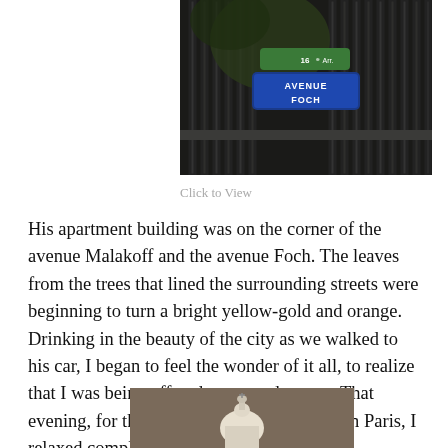[Figure (photo): Street sign for Avenue Foch in the 16th arrondissement of Paris, mounted on ornate black iron gate railings with foliage in background]
Click to View
His apartment building was on the corner of the avenue Malakoff and the avenue Foch. The leaves from the trees that lined the surrounding streets were beginning to turn a bright yellow-gold and orange. Drinking in the beauty of the city as we walked to his car, I began to feel the wonder of it all, to realize that I was being offered a great adventure.That evening, for the first time since my arrival in Paris, I relaxed completely.
[Figure (photo): Partial view of a domed building, likely Sacré-Cœur Basilica in Paris, against a grey sky]